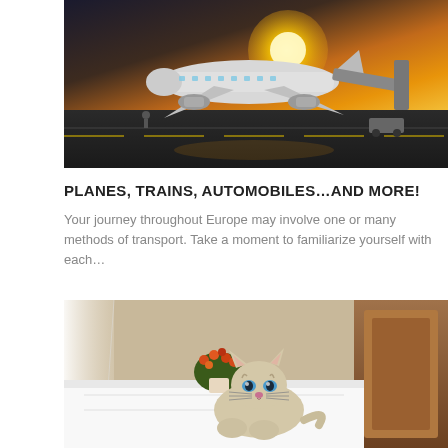[Figure (photo): Airplane on tarmac at golden hour sunset with jet bridge attached, airport ground crew visible]
PLANES, TRAINS, AUTOMOBILES…AND MORE!
Your journey throughout Europe may involve one or many methods of transport. Take a moment to familiarize yourself with each…
[Figure (photo): Siamese cat with blue eyes lying on white hotel bed, flowers in background, wooden headboard]